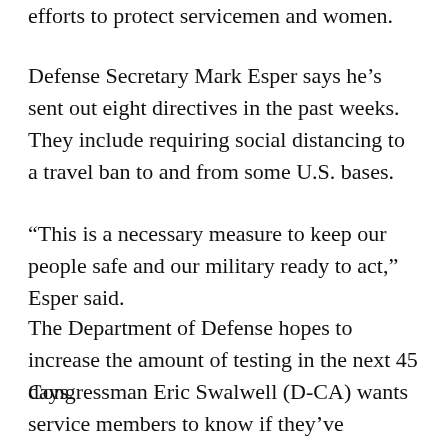efforts to protect servicemen and women.
Defense Secretary Mark Esper says he's sent out eight directives in the past weeks. They include requiring social distancing to a travel ban to and from some U.S. bases.
“This is a necessary measure to keep our people safe and our military ready to act,” Esper said.
The Department of Defense hopes to increase the amount of testing in the next 45 days.
Congressman Eric Swalwell (D-CA) wants service members to know if they’ve contracted the virus, and for the Department of Defense to deploy antibody testing.